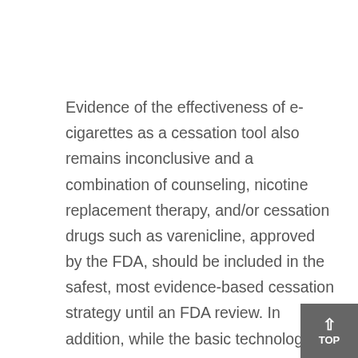Evidence of the effectiveness of e-cigarettes as a cessation tool also remains inconclusive and a combination of counseling, nicotine replacement therapy, and/or cessation drugs such as varenicline, approved by the FDA, should be included in the safest, most evidence-based cessation strategy until an FDA review. In addition, while the basic technology behind e-cigarettes is consistent, within the product category, there is enormous variability and there is no typical e-cigarette. The products include various ingredients, various hardware and deliver highly variable amounts of nicotine, including heavy metals such as cadmium, lead, nickel, tin, and